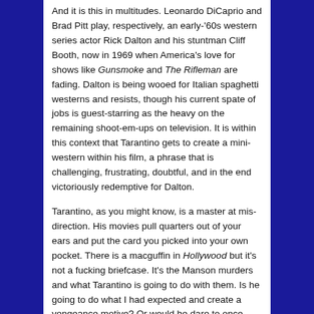And it is this in multitudes. Leonardo DiCaprio and Brad Pitt play, respectively, an early-'60s western series actor Rick Dalton and his stuntman Cliff Booth, now in 1969 when America's love for shows like Gunsmoke and The Rifleman are fading. Dalton is being wooed for Italian spaghetti westerns and resists, though his current spate of jobs is guest-starring as the heavy on the remaining shoot-em-ups on television. It is within this context that Tarantino gets to create a mini-western within his film, a phrase that is challenging, frustrating, doubtful, and in the end victoriously redemptive for Dalton.
Tarantino, as you might know, is a master at mis-direction. His movies pull quarters out of your ears and put the card you picked into your own pocket. There is a macguffin in Hollywood but it's not a fucking briefcase. It's the Manson murders and what Tarantino is going to do with them. Is he going to do what I had expected and create a vengeance motive? Or would he dare to once again change a huge story's ending, as he did in Showing results for Inglourious Basterds and to some extent in Django Unchained?